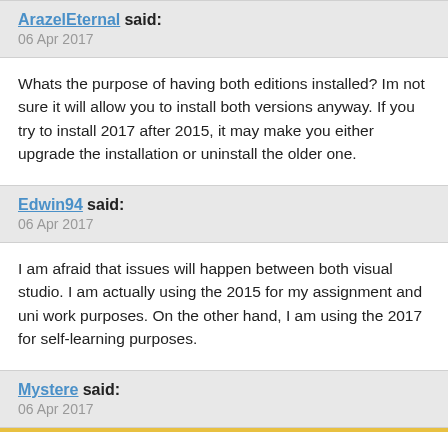ArazelEternal said:
06 Apr 2017
Whats the purpose of having both editions installed? Im not sure it will allow you to install both versions anyway. If you try to install 2017 after 2015, it may make you either upgrade the installation or uninstall the older one.
Edwin94 said:
06 Apr 2017
I am afraid that issues will happen between both visual studio. I am actually using the 2015 for my assignment and uni work purposes. On the other hand, I am using the 2017 for self-learning purposes.
Mystere said:
06 Apr 2017